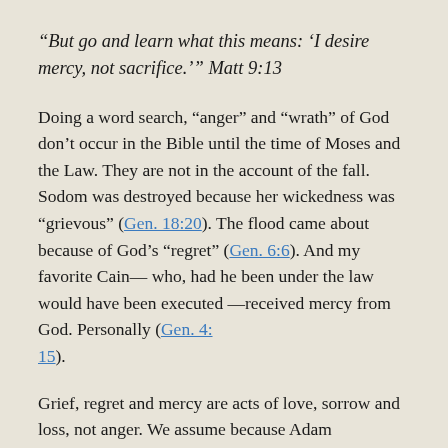“But go and learn what this means: ‘I desire mercy, not sacrifice.’” Matt 9:13
Doing a word search, “anger” and “wrath” of God don’t occur in the Bible until the time of Moses and the Law. They are not in the account of the fall. Sodom was destroyed because her wickedness was “grievous” (Gen. 18:20). The flood came about because of God’s “regret” (Gen. 6:6). And my favorite Cain— who, had he been under the law would have been executed —received mercy from God. Personally (Gen. 4:15).
Grief, regret and mercy are acts of love, sorrow and loss, not anger. We assume because Adam